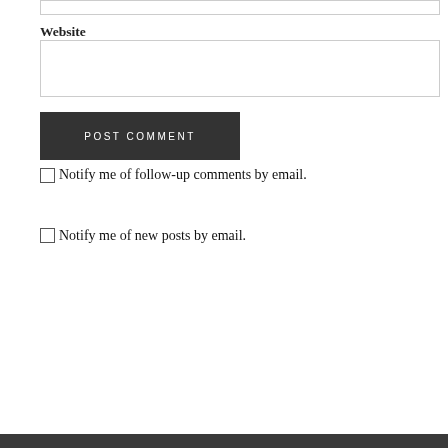Website
POST COMMENT
Notify me of follow-up comments by email.
Notify me of new posts by email.